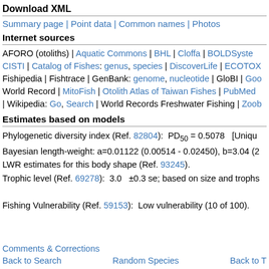Download XML
Summary page | Point data | Common names | Photos
Internet sources
AFORO (otoliths) | Aquatic Commons | BHL | Cloffa | BOLDSystems | CISTI | Catalog of Fishes: genus, species | DiscoverLife | ECOTOX | Fishipedia | Fishtrace | GenBank: genome, nucleotide | GloBI | Google Books | World Record | MitoFish | Otolith Atlas of Taiwan Fishes | PubMed | Reef Life Survey | Wikipedia: Go, Search | World Records Freshwater Fishing | Zoobank
Estimates based on models
Phylogenetic diversity index (Ref. 82804):  PD50 = 0.5078   [Unique]
Bayesian length-weight: a=0.01122 (0.00514 - 0.02450), b=3.04 (2…) LWR estimates for this body shape (Ref. 93245).
Trophic level (Ref. 69278):  3.0   ±0.3 se; based on size and trophs…
Fishing Vulnerability (Ref. 59153):  Low vulnerability (10 of 100).
Comments & Corrections
Back to Search    Random Species    Back to T…